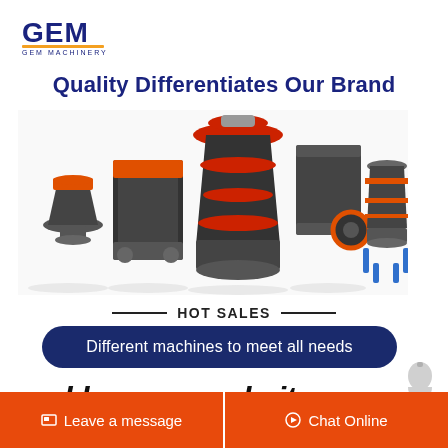[Figure (logo): GEM Machinery logo — blue stylized 'GEM' text with gold/orange underline and 'GEM MACHINERY' subtitle]
Quality Differentiates Our Brand
[Figure (photo): Five industrial crushing/grinding machines displayed in a row: cone crusher, jaw crusher, large cone/gyratory crusher (center, tallest), hammer crusher, and hydraulic cone crusher. Dark gray/black machines with orange/red accents.]
HOT SALES
Different machines to meet all needs
coal burner worksite
Leave a message   Chat Online